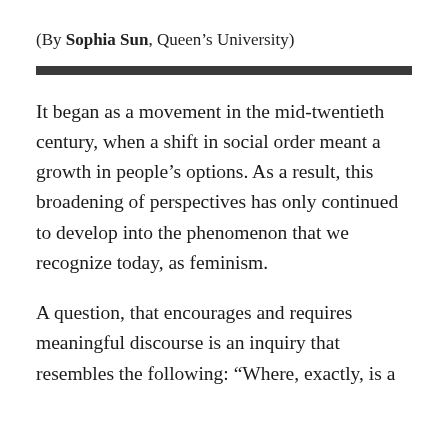(By Sophia Sun, Queen's University)
It began as a movement in the mid-twentieth century, when a shift in social order meant a growth in people's options. As a result, this broadening of perspectives has only continued to develop into the phenomenon that we recognize today, as feminism.
A question, that encourages and requires meaningful discourse is an inquiry that resembles the following: “Where, exactly, is a